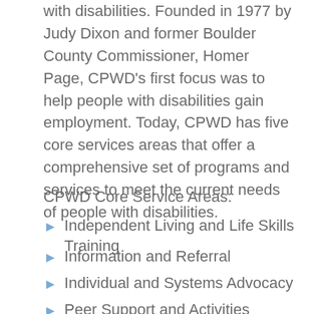with disabilities. Founded in 1977 by Judy Dixon and former Boulder County Commissioner, Homer Page, CPWD's first focus was to help people with disabilities gain employment. Today, CPWD has five core services areas that offer a comprehensive set of programs and services to meet the current needs of people with disabilities.
CPWD Core Service Areas:
Independent Living and Life Skills Training
Information and Referral
Individual and Systems Advocacy
Peer Support and Activities
Transitions